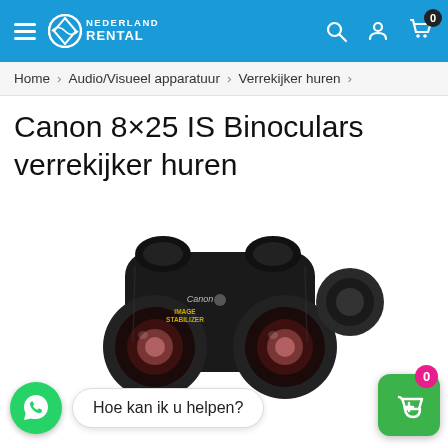Nederland Rental — navigation bar with hamburger menu, logo, search, account, and cart icons
Home > Audio/Visueel apparatuur > Verrekijker huren >
Canon 8×25 IS Binoculars verrekijker huren
[Figure (photo): Canon 8×25 IS Image Stabilizer binoculars in black, shown at an angle. Text on body: Canon, IMAGE STABILIZER.]
Hoe kan ik u helpen?